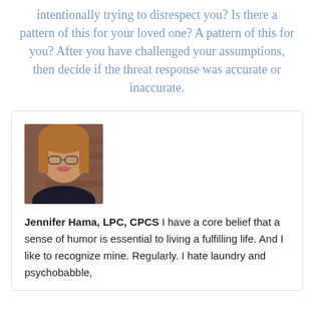intentionally trying to disrespect you? Is there a pattern of this for your loved one? A pattern of this for you? After you have challenged your assumptions, then decide if the threat response was accurate or inaccurate.
[Figure (photo): Headshot photo of Jennifer Hama, a woman with glasses and long hair, against a brick wall background.]
Jennifer Hama, LPC, CPCS I have a core belief that a sense of humor is essential to living a fulfilling life. And I like to recognize mine. Regularly. I hate laundry and psychobabble,